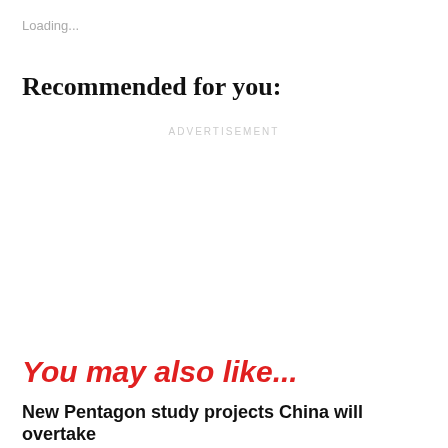Loading...
Recommended for you:
ADVERTISEMENT
You may also like...
New Pentagon study projects China will overtake